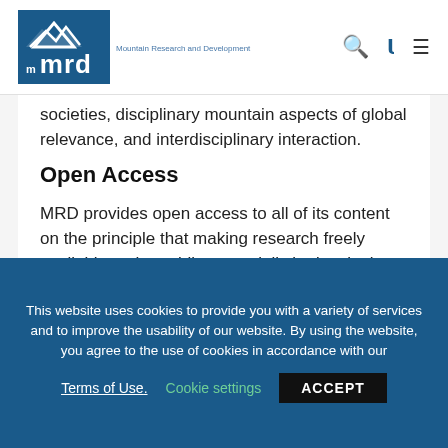MRD - Mountain Research and Development
societies, disciplinary mountain aspects of global relevance, and interdisciplinary interaction.
Open Access
MRD provides open access to all of its content on the principle that making research freely available to the public, especially in developing countries, supports a greater global exchange of knowledge. Open access leads to increased
This website uses cookies to provide you with a variety of services and to improve the usability of our website. By using the website, you agree to the use of cookies in accordance with our Terms of Use. Cookie settings ACCEPT